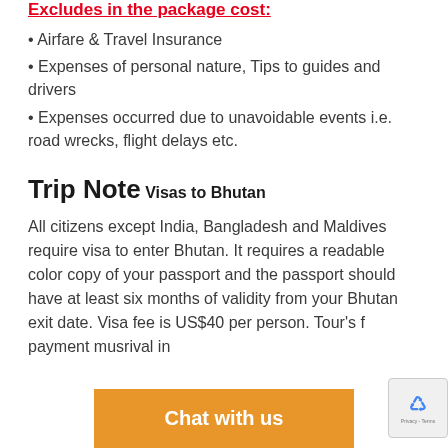Excludes in the package cost:
• Airfare & Travel Insurance
• Expenses of personal nature, Tips to guides and drivers
• Expenses occurred due to unavoidable events i.e. road wrecks, flight delays etc.
Trip Note
Visas to Bhutan
All citizens except India, Bangladesh and Maldives require visa to enter Bhutan. It requires a readable color copy of your passport and the passport should have at least six months of validity from your Bhutan exit date. Visa fee is US$40 per person. Tour's full payment must [be received before] arrival in